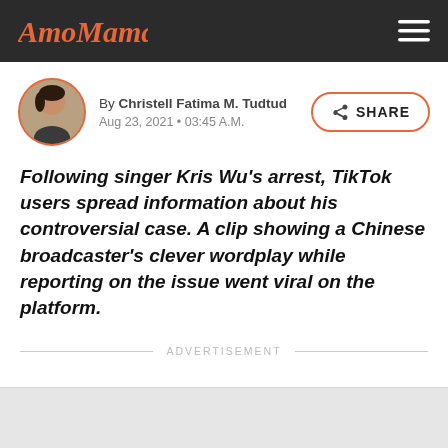AmoMama
By Christell Fatima M. Tudtud
Aug 23, 2021 • 03:45 A.M.
Following singer Kris Wu's arrest, TikTok users spread information about his controversial case. A clip showing a Chinese broadcaster's clever wordplay while reporting on the issue went viral on the platform.
ADVERTISEMENT